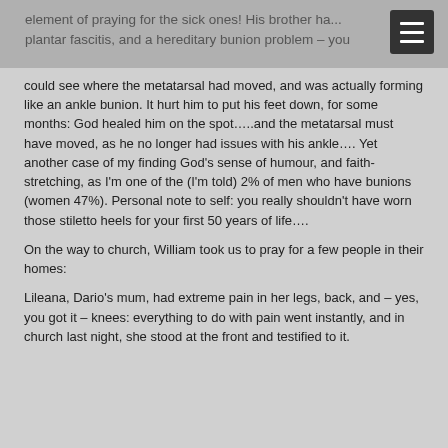element of praying for the sick ones! His brother ha... plantar fascitis, and a hereditary bunion problem – you
could see where the metatarsal had moved, and was actually forming like an ankle bunion. It hurt him to put his feet down, for some months: God healed him on the spot…..and the metatarsal must have moved, as he no longer had issues with his ankle…. Yet another case of my finding God's sense of humour, and faith-stretching, as I'm one of the (I'm told) 2% of men who have bunions (women 47%). Personal note to self: you really shouldn't have worn those stiletto heels for your first 50 years of life….
On the way to church, William took us to pray for a few people in their homes:
Lileana, Dario's mum, had extreme pain in her legs, back, and – yes, you got it – knees: everything to do with pain went instantly, and in church last night, she stood at the front and testified to it.